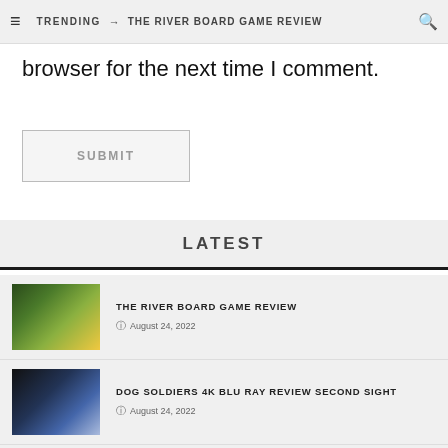TRENDING → THE RIVER BOARD GAME REVIEW
browser for the next time I comment.
SUBMIT
LATEST
THE RIVER BOARD GAME REVIEW — August 24, 2022
DOG SOLDIERS 4K BLU RAY REVIEW SECOND SIGHT — August 24, 2022
IDENTIFICATION OF A WOMAN BLU RAY CULT FILMS REVIEW